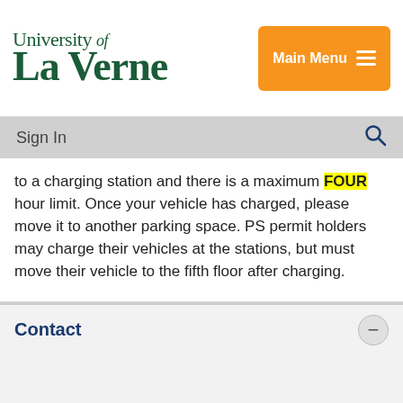University of La Verne — Main Menu
Sign In
to a charging station and there is a maximum FOUR hour limit. Once your vehicle has charged, please move it to another parking space. PS permit holders may charge their vehicles at the stations, but must move their vehicle to the fifth floor after charging.
Contact